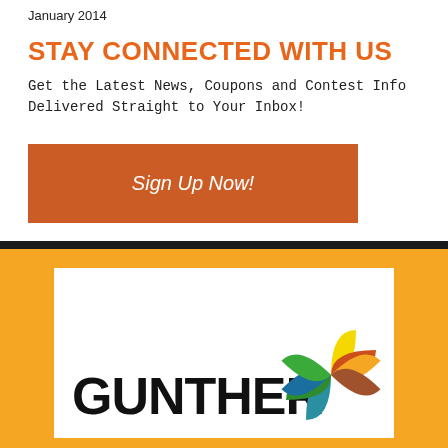January 2014
STAY CONNECTED WITH US
Get the Latest News, Coupons and Contest Info Delivered Straight to Your Inbox!
[Figure (other): Orange 'Sign Up Now!' button]
[Figure (logo): Gunther logo with colorful pinwheel graphic on orange background]